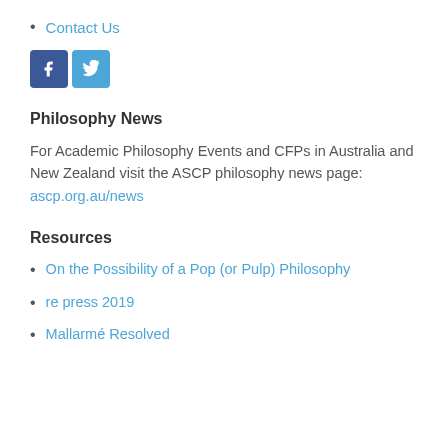Contact Us
[Figure (illustration): Facebook and Twitter social media icon buttons]
Philosophy News
For Academic Philosophy Events and CFPs in Australia and New Zealand visit the ASCP philosophy news page: ascp.org.au/news
Resources
On the Possibility of a Pop (or Pulp) Philosophy
re press 2019
Mallarmé Resolved